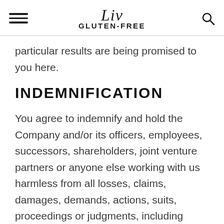Liv GLUTEN-FREE
particular results are being promised to you here.
INDEMNIFICATION
You agree to indemnify and hold the Company and/or its officers, employees, successors, shareholders, joint venture partners or anyone else working with us harmless from all losses, claims, damages, demands, actions, suits, proceedings or judgments, including costs, expenses and